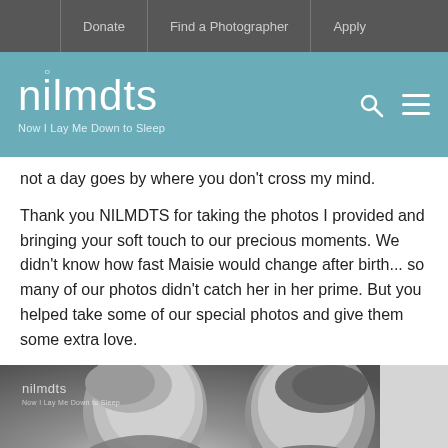Donate | Find a Photographer | Apply
[Figure (logo): NILMDTS (Now I Lay Me Down to Sleep) logo in white on teal/blue background with search and menu icons]
not a day goes by where you don't cross my mind.
Thank you NILMDTS for taking the photos I provided and bringing your soft touch to our precious moments. We didn't know how fast Maisie would change after birth... so many of our photos didn't catch her in her prime. But you helped take some of our special photos and give them some extra love.
[Figure (photo): Black and white photo showing two people (a man and a woman) leaning close together, heads bowed, with NILMDTS watermark logo in top left corner]